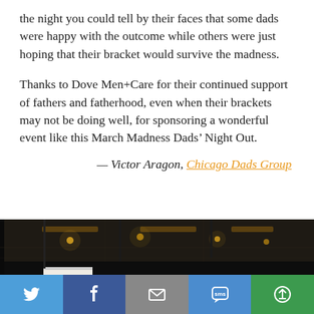the night you could tell by their faces that some dads were happy with the outcome while others were just hoping that their bracket would survive the madness.
Thanks to Dove Men+Care for their continued support of fathers and fatherhood, even when their brackets may not be doing well, for sponsoring a wonderful event like this March Madness Dads’ Night Out.
— Victor Aragon, Chicago Dads Group
[Figure (photo): Dark interior of a venue/bar with ceiling lights visible, taken from a low angle looking up. A white sign or paper is visible in the foreground.]
[Figure (infographic): Social sharing bar with five buttons: Twitter (light blue), Facebook (dark blue), Email (gray), SMS (blue), and a share/copy button (green).]